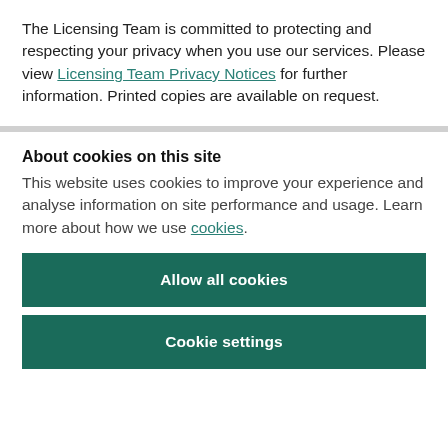The Licensing Team is committed to protecting and respecting your privacy when you use our services. Please view Licensing Team Privacy Notices for further information. Printed copies are available on request.
About cookies on this site
This website uses cookies to improve your experience and analyse information on site performance and usage. Learn more about how we use cookies.
Allow all cookies
Cookie settings